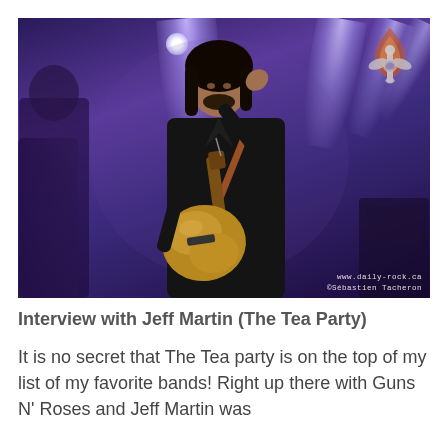[Figure (photo): Concert photo of Jeff Martin of The Tea Party playing a gold Les Paul guitar on stage with purple/blue stage lighting. A fleur-de-lis style logo watermark appears in the top right corner. Photo credit reads www.daily-rock.ca ©Sébastien Tacheron.]
Interview with Jeff Martin (The Tea Party)
It is no secret that The Tea party is on the top of my list of my favorite bands!  Right up there with Guns N' Roses and Jeff Martin was